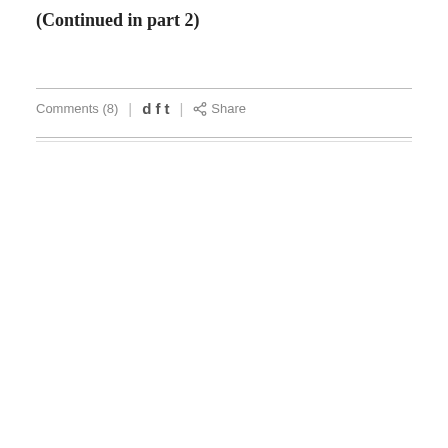(Continued in part 2)
Comments (8) | d f t | Share